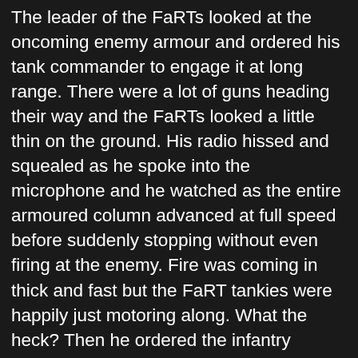The leader of the FaRTs looked at the oncoming enemy armour and ordered his tank commander to engage it at long range. There were a lot of guns heading their way and the FaRTs looked a little thin on the ground. His radio hissed and squealed as he spoke into the microphone and he watched as the entire armoured column advanced at full speed before suddenly stopping without even firing at the enemy. Fire was coming in thick and fast but the FaRT tankies were happily just motoring along. What the heck? Then he ordered the infantry forward to the small township of Gladioli ahead of them. The radio hissed and squealed some more and then it went dead. The IFVs stood stock still. Meanwhile the ADF commander was making the most of things and firing for all he was worth. Very soon three FaRT tanks were in flames and others were buttoned up and hoping for the best. Confusion reigned among the FaRTs and there was no doubt that their CO would be raising a stink about this if any of them survived. Things improved marginally as the missile tanks began to engage the enemy and smoked two of the enemy in return. The IFVs engaged an APC heading for the town, leaving it a blazing wreck too. "Well," thought Colonel Neryngia, "at least we are giving a